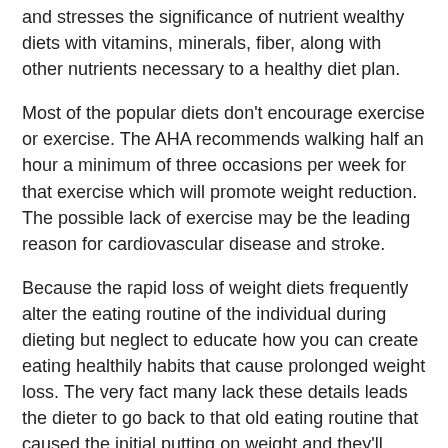and stresses the significance of nutrient wealthy diets with vitamins, minerals, fiber, along with other nutrients necessary to a healthy diet plan.
Most of the popular diets don't encourage exercise or exercise. The AHA recommends walking half an hour a minimum of three occasions per week for that exercise which will promote weight reduction. The possible lack of exercise may be the leading reason for cardiovascular disease and stroke.
Because the rapid loss of weight diets frequently alter the eating routine of the individual during dieting but neglect to educate how you can create eating healthily habits that cause prolonged weight loss. The very fact many lack these details leads the dieter to go back to that old eating routine that caused the initial putting on weight and they'll eventually regain dropped a few